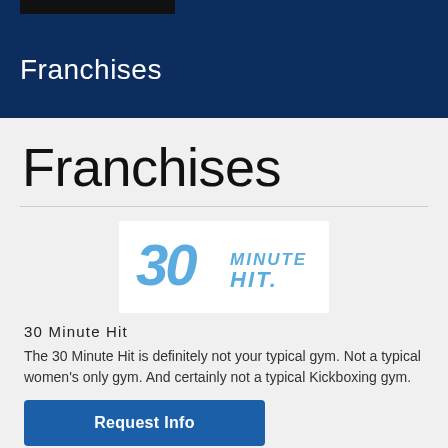Franchises
Franchises
[Figure (logo): 30 Minute Hit logo — stylized '30' in blue with 'MINUTE HIT' text]
30 Minute Hit
The 30 Minute Hit is definitely not your typical gym. Not a typical women's only gym. And certainly not a typical Kickboxing gym.
Request Info